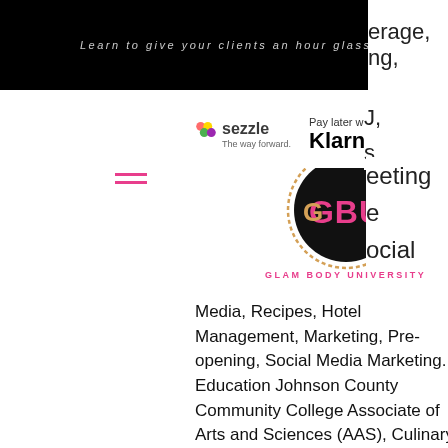Learn to give your clients an hour glass figure
[Figure (logo): Sezzle payment logo - The way forward]
[Figure (logo): Klarna Pay later with Klarna logo]
[Figure (logo): Glam Body University (GBU) circular logo with pink letters and gold GBU text]
Media, Recipes, Hotel Management, Marketing, Pre-opening, Social Media Marketing. Education Johnson County Community College Associate of Arts and Sciences (AAS), Culinary Arts and Hospitality Management. Experience Seminole Hard Rock Hotel & Casino Tampa 2013 - 2014 Penn National Gaming January 2012 - May 2013 Catholic Charities of North East Kansas 2007 - 2011 Shawnee County 2000 - 2007 Prairie Band Casino Resort November 1998 - November 2000 Chesterfield Township May 1985 - August 1999, cheap penny slots or quarter slots